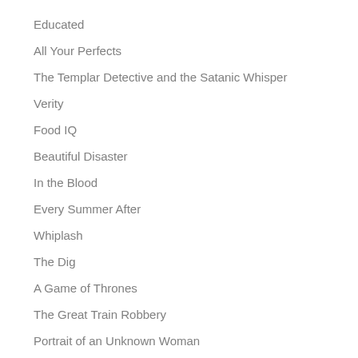Educated
All Your Perfects
The Templar Detective and the Satanic Whisper
Verity
Food IQ
Beautiful Disaster
In the Blood
Every Summer After
Whiplash
The Dig
A Game of Thrones
The Great Train Robbery
Portrait of an Unknown Woman
A Country Affair